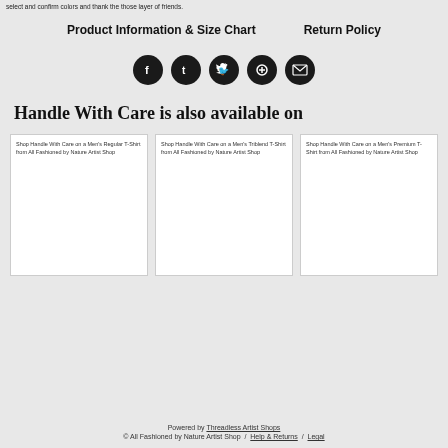select and confirm colors and thank the those layer of friends.
Product Information & Size Chart    Return Policy
[Figure (infographic): Five social media icon buttons in dark circles: Facebook, Tumblr, Twitter, Pinterest, Email]
Handle With Care is also available on
[Figure (screenshot): Shop Handle With Care on a Men's Regular T-Shirt from All Fashioned by Nature Artist Shop]
[Figure (screenshot): Shop Handle With Care on a Men's Triblend T-Shirt from All Fashioned by Nature Artist Shop]
[Figure (screenshot): Shop Handle With Care on a Men's Premium T-Shirt from All Fashioned by Nature Artist Shop]
Powered by Threadless Artist Shops
© All Fashioned by Nature Artist Shop / Help & Returns / Legal